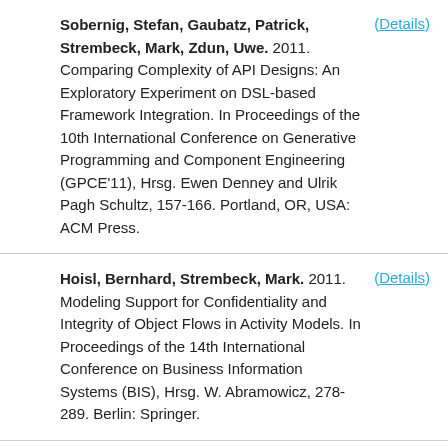Sobernig, Stefan, Gaubatz, Patrick, Strembeck, Mark, Zdun, Uwe. 2011. Comparing Complexity of API Designs: An Exploratory Experiment on DSL-based Framework Integration. In Proceedings of the 10th International Conference on Generative Programming and Component Engineering (GPCE'11), Hrsg. Ewen Denney and Ulrik Pagh Schultz, 157-166. Portland, OR, USA: ACM Press. (Details)
Hoisl, Bernhard, Strembeck, Mark. 2011. Modeling Support for Confidentiality and Integrity of Object Flows in Activity Models. In Proceedings of the 14th International Conference on Business Information Systems (BIS), Hrsg. W. Abramowicz, 278-289. Berlin: Springer. (Details)
Hoisl, Bernhard, Sobernig, Stefan. 2011. Integrity and Confidentiality Annotations for Service Interfaces in SoaML Models. In Proceedings of the (Details)